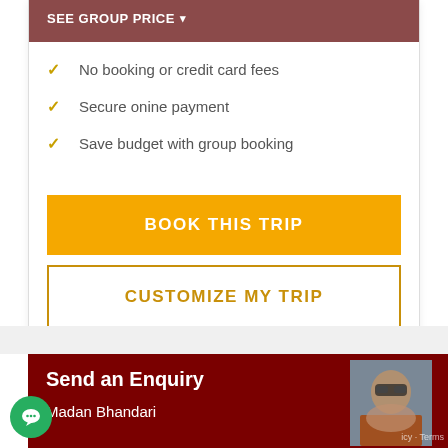SEE GROUP PRICE ▾
No booking or credit card fees
Secure onine payment
Save budget with group booking
BOOK THIS TRIP
CUSTOMIZE MY TRIP
Send an Enquiry
Madan Bhandari
icy · Terms
[Figure (photo): Profile photo of Madan Bhandari outdoors with sunglasses]